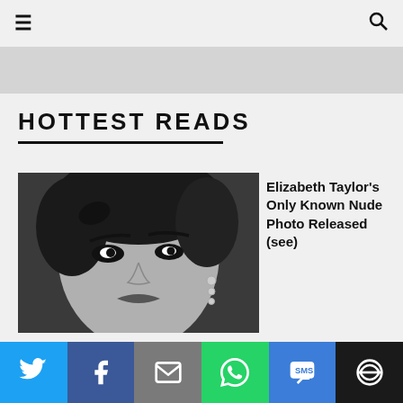≡ [hamburger menu] [search icon]
[Figure (other): Gray advertisement banner at top of page]
HOTTEST READS
[Figure (photo): Black and white portrait photo of Elizabeth Taylor, glamorous pose with earrings]
Elizabeth Taylor's Only Known Nude Photo Released (see)
[Figure (photo): Partial photo strip showing a woman's face, second article thumbnail]
Model Strips
[Figure (infographic): Social sharing bar with Twitter, Facebook, Email, WhatsApp, SMS, More buttons]